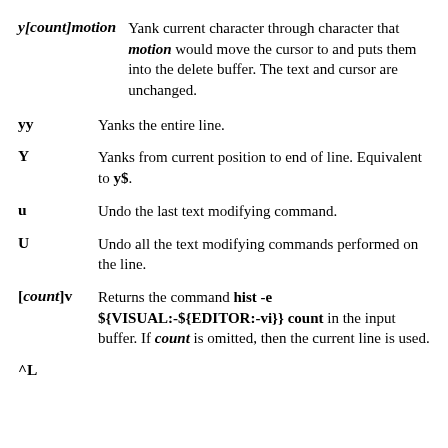y[count]motion — Yank current character through character that motion would move the cursor to and puts them into the delete buffer. The text and cursor are unchanged.
yy — Yanks the entire line.
Y — Yanks from current position to end of line. Equivalent to y$.
u — Undo the last text modifying command.
U — Undo all the text modifying commands performed on the line.
[count]v — Returns the command hist -e ${VISUAL:-${EDITOR:-vi}} count in the input buffer. If count is omitted, then the current line is used.
^L